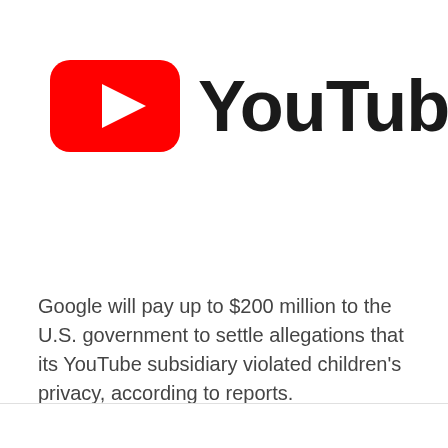[Figure (logo): YouTube logo: red rounded rectangle with white play triangle on left, bold black 'YouTube' wordmark on right]
Google will pay up to $200 million to the U.S. government to settle allegations that its YouTube subsidiary violated children's privacy, according to reports.